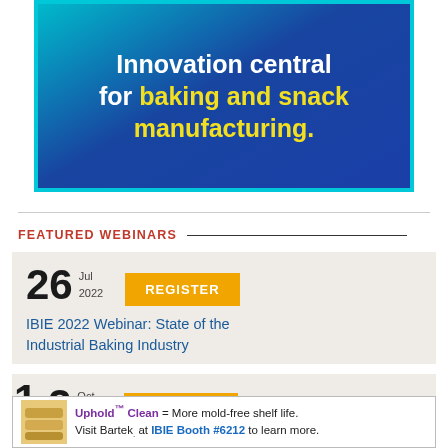[Figure (illustration): Blue gradient banner with teal border. Text reads: Innovation central for baking and snack manufacturing. 'baking and snack manufacturing.' in yellow.]
FEATURED WEBINARS
26 Jul 2022 REGISTER — IBIE 2022 Webinar: State of the Industrial Baking Industry
12 Oct 2022 REGISTER
Uphold™ Clean = More mold-free shelf life. Visit Bartek. at IBIE Booth #6212 to learn more.